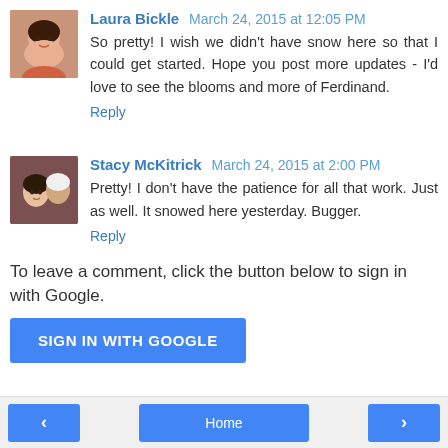[Figure (photo): Avatar photo of Laura Bickle, a woman with dark hair smiling]
Laura Bickle March 24, 2015 at 12:05 PM
So pretty! I wish we didn't have snow here so that I could get started. Hope you post more updates - I'd love to see the blooms and more of Ferdinand.
Reply
[Figure (photo): Avatar photo of Stacy McKitrick, a couple photo]
Stacy McKitrick March 24, 2015 at 2:00 PM
Pretty! I don't have the patience for all that work. Just as well. It snowed here yesterday. Bugger.
Reply
To leave a comment, click the button below to sign in with Google.
SIGN IN WITH GOOGLE
‹  Home  ›